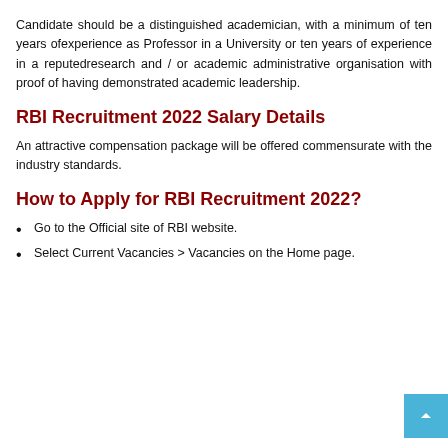Candidate should be a distinguished academician, with a minimum of ten years ofexperience as Professor in a University or ten years of experience in a reputedresearch and / or academic administrative organisation with proof of having demonstrated academic leadership.
RBI Recruitment 2022 Salary Details
An attractive compensation package will be offered commensurate with the industry standards.
How to Apply for RBI Recruitment 2022?
Go to the Official site of RBI website.
Select Current Vacancies > Vacancies on the Home page.